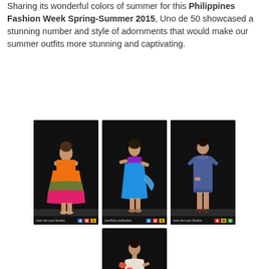Sharing its wonderful colors of summer for this Philippines Fashion Week Spring-Summer 2015, Uno de 50 showcased a stunning number and style of adornments that would make our summer outfits more stunning and captivating.
[Figure (photo): Three fashion models on a runway against dark backgrounds, arranged in a row: left model in orange tiered dress, center model in purple top and blue flowing dress, right model in denim short dress]
[Figure (photo): Fashion model in a colorful multicolored printed dress on a runway against a dark background]